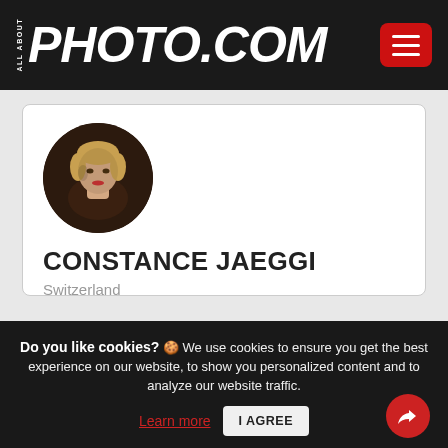ALL ABOUT PHOTO.COM
[Figure (photo): Circular profile photo of Constance Jaeggi, a woman with light hair, against a dark background]
CONSTANCE JAEGGI
Switzerland
1990
I have always had a fascination with horses which in part stems from my interest in the essential role they played in the development of modern...
Do you like cookies? 🍪 We use cookies to ensure you get the best experience on our website, to show you personalized content and to analyze our website traffic. Learn more  I AGREE